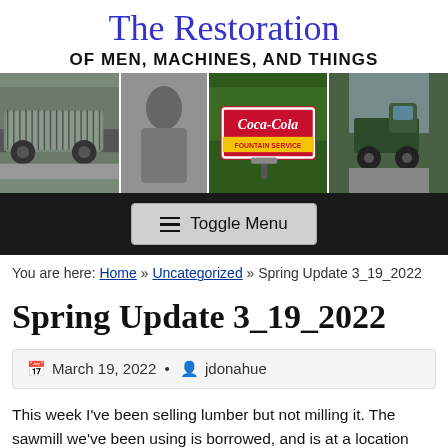The Restoration
OF MEN, MACHINES, AND THINGS
[Figure (photo): Header photo strip with three images: a van wrapped in tape/chain on gravel, a black-and-white person photo, a Coca-Cola Fountain Service sign in red/yellow, and a green vintage truck.]
Toggle Menu
You are here: Home » Uncategorized » Spring Update 3_19_2022
Spring Update 3_19_2022
March 19, 2022 • jdonahue
This week I've been selling lumber but not milling it. The sawmill we've been using is borrowed, and is at a location that makes logistics difficult. It looks to me like being able to saw